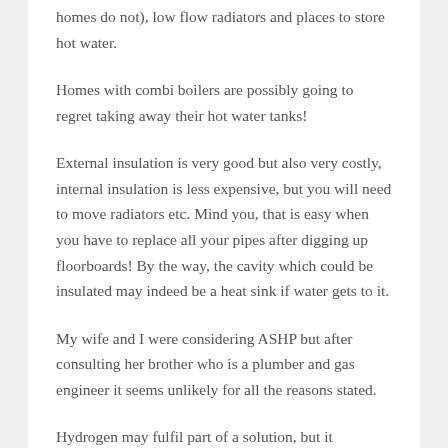homes do not), low flow radiators and places to store hot water.
Homes with combi boilers are possibly going to regret taking away their hot water tanks!
External insulation is very good but also very costly, internal insulation is less expensive, but you will need to move radiators etc. Mind you, that is easy when you have to replace all your pipes after digging up floorboards! By the way, the cavity which could be insulated may indeed be a heat sink if water gets to it.
My wife and I were considering ASHP but after consulting her brother who is a plumber and gas engineer it seems unlikely for all the reasons stated.
Hydrogen may fulfil part of a solution, but it